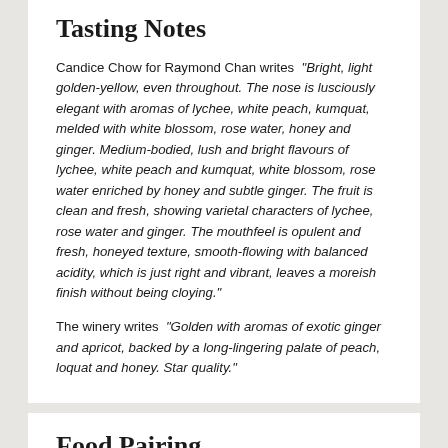Tasting Notes
Candice Chow for Raymond Chan writes "Bright, light golden-yellow, even throughout. The nose is lusciously elegant with aromas of lychee, white peach, kumquat, melded with white blossom, rose water, honey and ginger. Medium-bodied, lush and bright flavours of lychee, white peach and kumquat, white blossom, rose water enriched by honey and subtle ginger. The fruit is clean and fresh, showing varietal characters of lychee, rose water and ginger. The mouthfeel is opulent and fresh, honeyed texture, smooth-flowing with balanced acidity, which is just right and vibrant, leaves a moreish finish without being cloying."
The winery writes "Golden with aromas of exotic ginger and apricot, backed by a long-lingering palate of peach, loquat and honey. Star quality."
Food Pairing